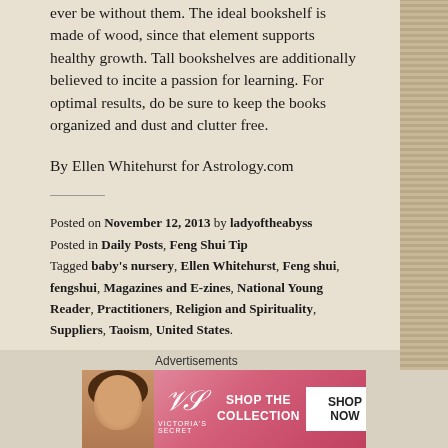ever be without them. The ideal bookshelf is made of wood, since that element supports healthy growth. Tall bookshelves are additionally believed to incite a passion for learning. For optimal results, do be sure to keep the books organized and dust and clutter free.
By Ellen Whitehurst for Astrology.com
Posted on November 12, 2013 by ladyoftheabyss
Posted in Daily Posts, Feng Shui Tip
Tagged baby's nursery, Ellen Whitehurst, Feng shui, fengshui, Magazines and E-zines, National Young Reader, Practitioners, Religion and Spirituality, Suppliers, Taoism, United States.
[Figure (other): Partial view of a next article title in large bold serif font, partially cropped]
Advertisements
[Figure (other): Victoria's Secret advertisement banner with model, VS logo, 'SHOP THE COLLECTION' text and 'SHOP NOW' call-to-action button]